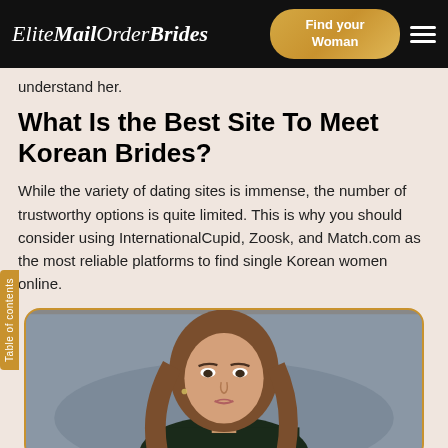Elite Mail Order Brides | Find your Woman
understand her.
What Is the Best Site To Meet Korean Brides?
While the variety of dating sites is immense, the number of trustworthy options is quite limited. This is why you should consider using InternationalCupid, Zoosk, and Match.com as the most reliable platforms to find single Korean women online.
[Figure (photo): Portrait of a young woman with long brown hair against a blurred grey background]